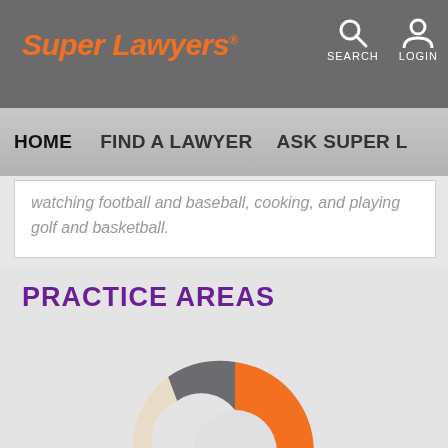Super Lawyers
HOME   FIND A LAWYER   ASK SUPER L
watching football and baseball, cooking, and playing golf and basketball.
PRACTICE AREAS
[Figure (donut-chart): Donut chart showing practice areas breakdown with multiple colored segments: large orange segment, smaller dark gray segment, small cream/beige segment, and medium orange segment]